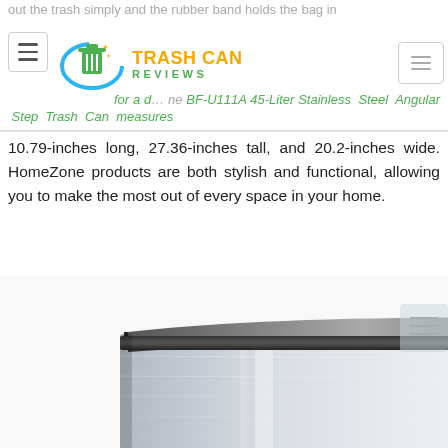out the trash simply and the rubber band holds the bag in for a d... HomeZone BF-U111A 45-Liter Stainless Steel Angular Step Trash Can measures
[Figure (logo): Trash Can Reviews logo with green trash can icon, orange TRASH CAN text and green REVIEWS text]
10.79-inches long, 27.36-inches tall, and 20.2-inches wide. HomeZone products are both stylish and functional, allowing you to make the most out of every space in your home.
[Figure (photo): Close-up photo of the top portion of a stainless steel rectangular step trash can with a black plastic lid and trim, showing the brushed metal body.]